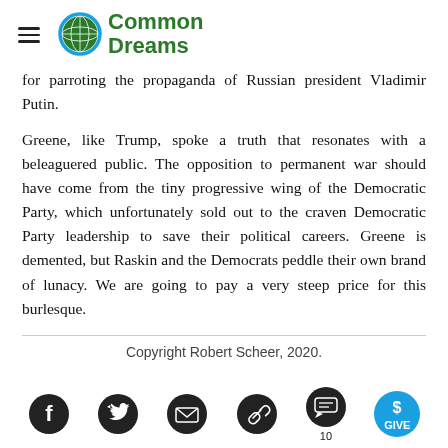Common Dreams
for parroting the propaganda of Russian president Vladimir Putin.
Greene, like Trump, spoke a truth that resonates with a beleaguered public. The opposition to permanent war should have come from the tiny progressive wing of the Democratic Party, which unfortunately sold out to the craven Democratic Party leadership to save their political careers. Greene is demented, but Raskin and the Democrats peddle their own brand of lunacy. We are going to pay a very steep price for this burlesque.
Copyright Robert Scheer, 2020.
[Figure (infographic): Social sharing icons: Facebook, Twitter, Email, Link, Comments (10), and GIVE button]